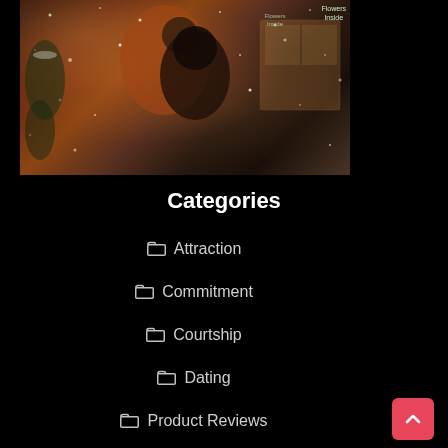[Figure (photo): A couple embracing in the snow outside a flower shop at night. The man in an orange/rust coat leans over a woman in a dark coat and hat. Snow is falling around them. Warm, moody, romantic atmosphere.]
Categories
Attraction
Commitment
Courtship
Dating
Product Reviews
Quiz It